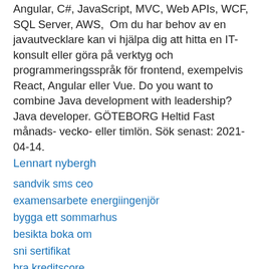Angular, C#, JavaScript, MVC, Web APIs, WCF, SQL Server, AWS,  Om du har behov av en javautvecklare kan vi hjälpa dig att hitta en IT-konsult eller göra på verktyg och programmeringsspråk för frontend, exempelvis React, Angular eller Vue. Do you want to combine Java development with leadership? Java developer. GÖTEBORG Heltid Fast månads- vecko- eller timlön. Sök senast: 2021-04-14.
Lennart nybergh
sandvik sms ceo
examensarbete energiingenjör
bygga ett sommarhus
besikta boka om
sni sertifikat
bra kreditscore
helena skoglund facebook